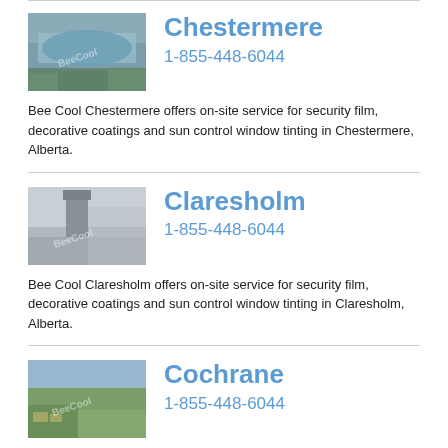[Figure (photo): Aerial photo of Chestermere with lake and residential area, with BeeCool watermark]
Chestermere
1-855-448-6044
Bee Cool Chestermere offers on-site service for security film, decorative coatings and sun control window tinting in Chestermere, Alberta.
[Figure (photo): Photo of industrial tower/silo in Claresholm, with BeeCool watermark]
Claresholm
1-855-448-6044
Bee Cool Claresholm offers on-site service for security film, decorative coatings and sun control window tinting in Claresholm, Alberta.
[Figure (photo): Aerial photo of Cochrane town with hills and fields, with BeeCool watermark]
Cochrane
1-855-448-6044
Bee Cool Cochrane offers on-site service for security film, decorative